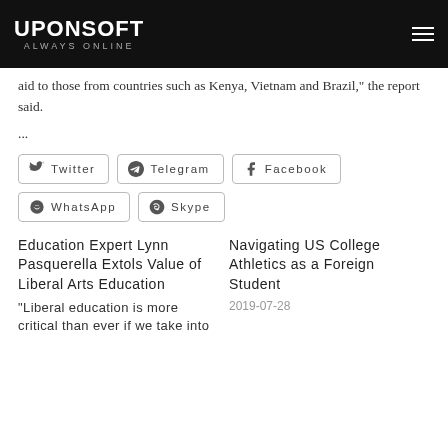UPONSOFT ALWAYS ONLINE
aid to those from countries such as Kenya, Vietnam and Brazil," the report said.
...
[Figure (infographic): Social share buttons: Twitter, Telegram, Facebook, WhatsApp, Skype]
Education Expert Lynn Pasquerella Extols Value of Liberal Arts Education
"Liberal education is more critical than ever if we take into
Navigating US College Athletics as a Foreign Student
2019-07-28